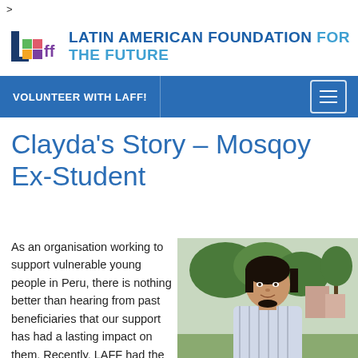>
[Figure (logo): LAFF logo with colorful squares icon and text LATIN AMERICAN FOUNDATION FOR THE FUTURE]
VOLUNTEER WITH LAFF!
Clayda's Story – Mosqoy Ex-Student
As an organisation working to support vulnerable young people in Peru, there is nothing better than hearing from past beneficiaries that our support has had a lasting impact on them. Recently, LAFF had the
[Figure (photo): Photo of a woman with dark hair smiling, outdoors with trees and buildings in the background]